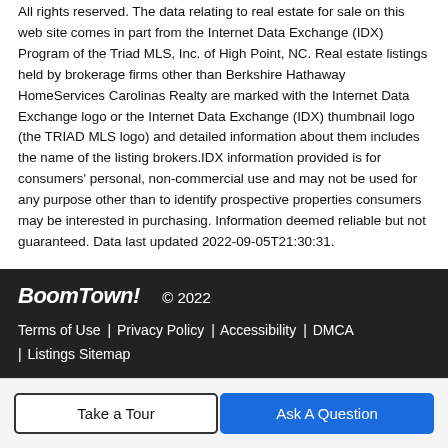All rights reserved. The data relating to real estate for sale on this web site comes in part from the Internet Data Exchange (IDX) Program of the Triad MLS, Inc. of High Point, NC. Real estate listings held by brokerage firms other than Berkshire Hathaway HomeServices Carolinas Realty are marked with the Internet Data Exchange logo or the Internet Data Exchange (IDX) thumbnail logo (the TRIAD MLS logo) and detailed information about them includes the name of the listing brokers.IDX information provided is for consumers' personal, non-commercial use and may not be used for any purpose other than to identify prospective properties consumers may be interested in purchasing. Information deemed reliable but not guaranteed. Data last updated 2022-09-05T21:30:31.
BoomTown! © 2022 | Terms of Use | Privacy Policy | Accessibility | DMCA | Listings Sitemap
Take a Tour | Ask A Question